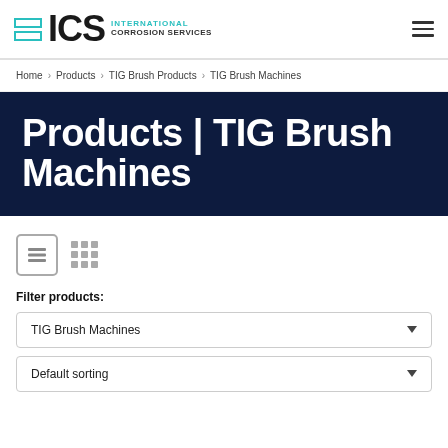[Figure (logo): ICS International Corrosion Services logo with teal rectangle icon and bold ICS text]
Home > Products > TIG Brush Products > TIG Brush Machines
Products | TIG Brush Machines
Filter products:
TIG Brush Machines
Default sorting